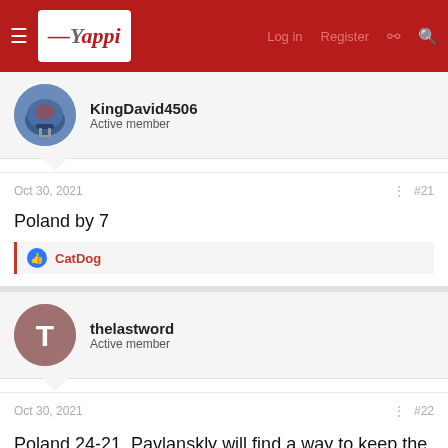Yappi – Log in | Register
KingDavid4506
Active member
Oct 30, 2021  #21
Poland by 7
👍 CatDog
thelastword
Active member
Oct 30, 2021  #22
Poland 24-21. Pavlanskly will find a way to keep the scoring down in this one.
👍 CatDog